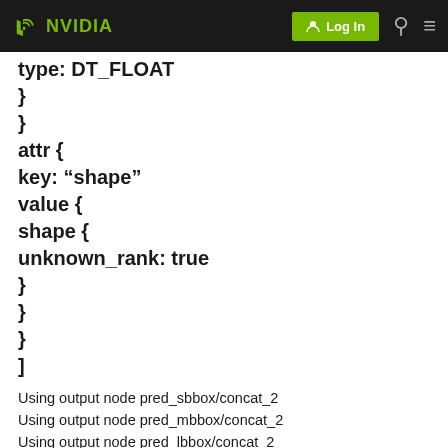NVIDIA | Log In
type: DT_FLOAT
}
}
attr {
key: “shape”
value {
shape {
unknown_rank: true
}
}
}
]
Using output node pred_sbbox/concat_2
Using output node pred_mbbox/concat_2
Using output node pred_lbbox/concat_2